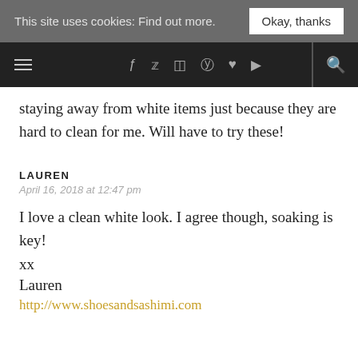This site uses cookies: Find out more. | Okay, thanks
[Figure (screenshot): Navigation bar with hamburger menu icon, social media icons (Facebook, Twitter, Instagram, Pinterest, heart, YouTube), and search icon on dark background]
staying away from white items just because they are hard to clean for me. Will have to try these!
LAUREN
April 16, 2018 at 12:47 pm
I love a clean white look. I agree though, soaking is key!
xx
Lauren
http://www.shoesandsashimi.com